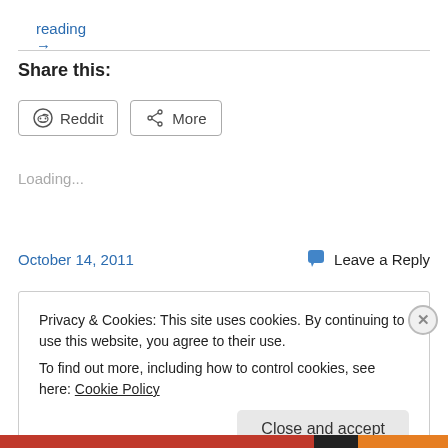reading →
Share this:
Reddit   More
Loading...
October 14, 2011
Leave a Reply
Privacy & Cookies: This site uses cookies. By continuing to use this website, you agree to their use.
To find out more, including how to control cookies, see here: Cookie Policy
Close and accept